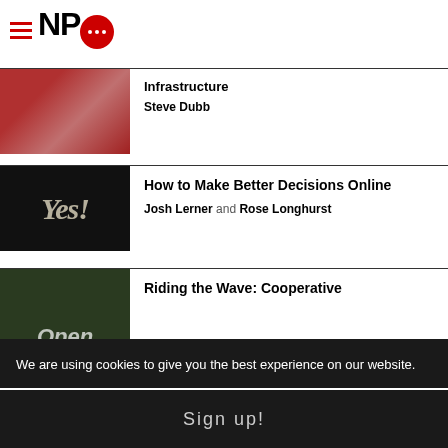[Figure (logo): NPQ logo with hamburger menu icon, red letters NP and red speech bubble with dots]
[Figure (photo): Partial photo of woman wearing colorful scarf]
Infrastructure
Steve Dubb
[Figure (photo): Dark background image with 'Yes!' text in decorative lettering]
How to Make Better Decisions Online
Josh Lerner and Rose Longhurst
[Figure (photo): Dark outdoor photo with 'You're Open' banner sign]
Riding the Wave: Cooperative
We are using cookies to give you the best experience on our website.
Sign up!